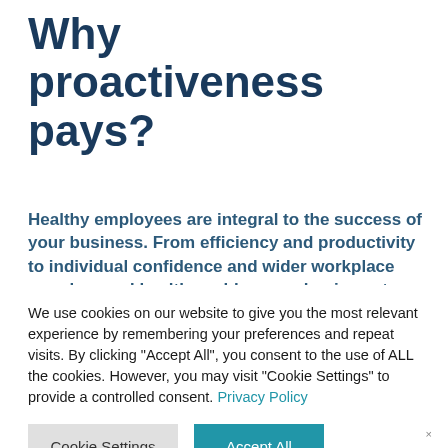Why proactiveness pays?
Healthy employees are integral to the success of your business. From efficiency and productivity to individual confidence and wider workplace morale, good health enables your business to achieve more and retain its competitive edge
We use cookies on our website to give you the most relevant experience by remembering your preferences and repeat visits. By clicking "Accept All", you consent to the use of ALL the cookies. However, you may visit "Cookie Settings" to provide a controlled consent. Privacy Policy